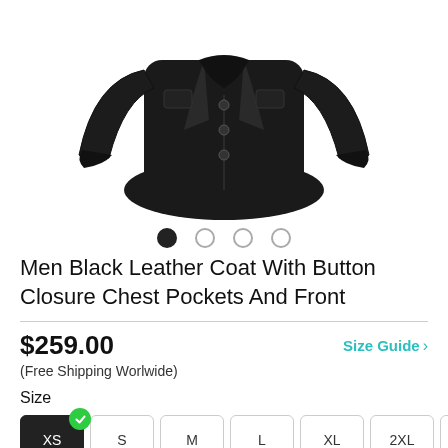[Figure (photo): Black leather men's jacket displayed on white background, button closure front, chest pockets visible, upper torso cropped view]
Men Black Leather Coat With Button Closure Chest Pockets And Front
$259.00
Size Guide >
(Free Shipping Worlwide)
Size
XS S M L XL 2XL 3XL